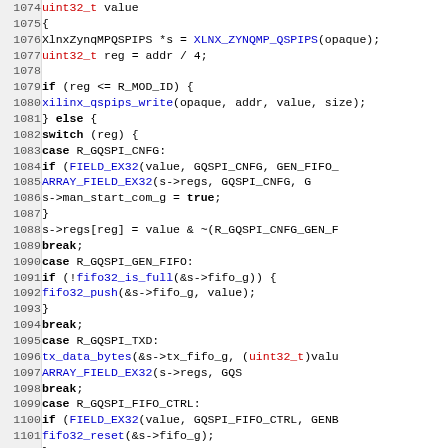[Figure (screenshot): Source code listing in C showing lines 1074-1106 of a QSPI driver implementation for Xilinx ZynqMP, with syntax highlighting. Line numbers in left gutter, keywords bold black, function calls in blue, type names in red.]